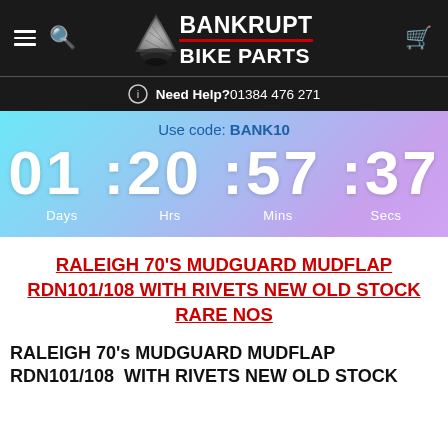BANKRUPT BIKE PARTS — Need Help? 01384 476 271
[Figure (infographic): Countdown timer banner with gradient background (cyan to purple). Shows: Use code: BANK10 / 01:20:57:37 / Days Hrs Mins Secs]
RALEIGH 70's MUDGUARD MUDFLAP RDN101/108 WITH RIVETS NEW OLD STOCK RARE NOS
RALEIGH 70's MUDGUARD MUDFLAP RDN101/108  WITH RIVETS NEW OLD STOCK